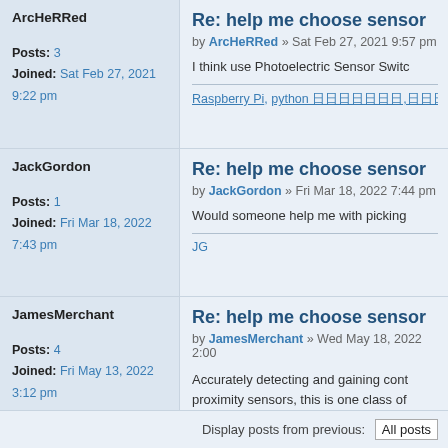ArcHeRRed
Posts: 3
Joined: Sat Feb 27, 2021 9:22 pm
Re: help me choose sensor
by ArcHeRRed » Sat Feb 27, 2021 9:57 pm
I think use Photoelectric Sensor Switc
Raspberry Pi, python 日日日日日日日,日日日 ESP8266
JackGordon
Posts: 1
Joined: Fri Mar 18, 2022 7:43 pm
Re: help me choose sensor
by JackGordon » Fri Mar 18, 2022 7:44 pm
Would someone help me with picking
JG
JamesMerchant
Posts: 4
Joined: Fri May 13, 2022 3:12 pm
Re: help me choose sensor
by JamesMerchant » Wed May 18, 2022 2:00
Accurately detecting and gaining cont proximity sensors, this is one class of
Display posts from previous: All posts